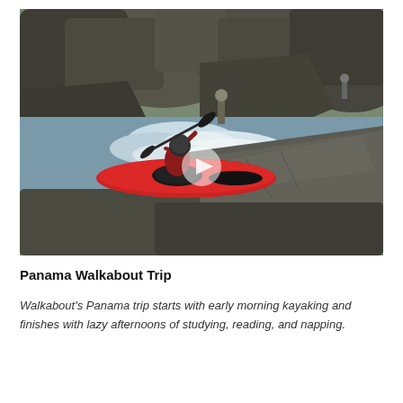[Figure (photo): A kayaker in a red kayak navigating white water rapids through rocky terrain. Another person stands on the rocks in the background. The scene is an action shot of whitewater kayaking.]
Panama Walkabout Trip
Walkabout's Panama trip starts with early morning kayaking and finishes with lazy afternoons of studying, reading, and napping.